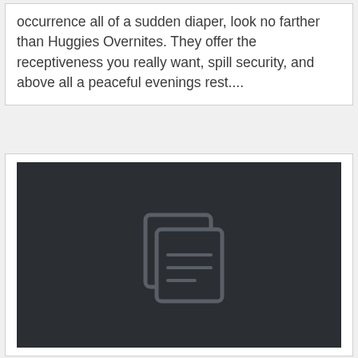occurrence all of a sudden diaper, look no farther than Huggies Overnites. They offer the receptiveness you really want, spill security, and above all a peaceful evenings rest....
[Figure (photo): Dark placeholder image with a copy/document icon in the center, suggesting a missing or unavailable image]